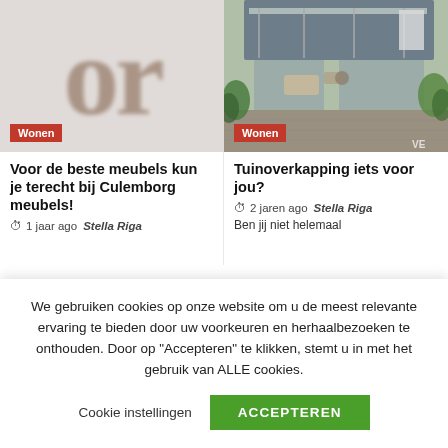[Figure (photo): Blurred magazine logo showing letters 'or' in large brown serif font on light grey background with 'Wonen' badge]
[Figure (photo): Garden terrace with pergola/overkapping, outdoor furniture, plants, photographed from above. 'Wonen' badge overlay.]
Voor de beste meubels kun je terecht bij Culemborg meubels!
1 jaar ago  Stella Riga
Tuinoverkapping iets voor jou?
2 jaren ago  Stella Riga
Ben jij niet helemaal
We gebruiken cookies op onze website om u de meest relevante ervaring te bieden door uw voorkeuren en herhaalbezoeken te onthouden. Door op "Accepteren" te klikken, stemt u in met het gebruik van ALLE cookies.
Cookie instellingen  ACCEPTEREN